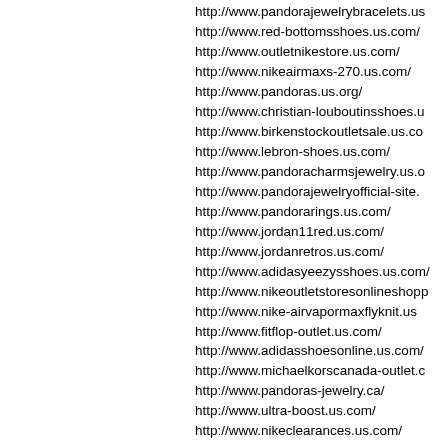http://www.pandorajewelrybracelets.us
http://www.red-bottomsshoes.us.com/
http://www.outletnikestore.us.com/
http://www.nikeairmaxs-270.us.com/
http://www.pandoras.us.org/
http://www.christian-louboutinsshoes.u
http://www.birkenstockoutletsale.us.co
http://www.lebron-shoes.us.com/
http://www.pandoracharmsjewelry.us.o
http://www.pandorajewelryofficial-site.
http://www.pandorarings.us.com/
http://www.jordan11red.us.com/
http://www.jordanretros.us.com/
http://www.adidasyeezysshoes.us.com/
http://www.nikeoutletstoresonlineshopp
http://www.nike-airvapormaxflyknit.us
http://www.fitflop-outlet.us.com/
http://www.adidasshoesonline.us.com/
http://www.michaelkorscanada-outlet.c
http://www.pandoras-jewelry.ca/
http://www.ultra-boost.us.com/
http://www.nikeclearances.us.com/